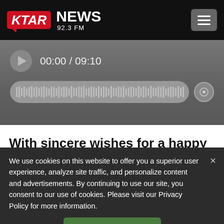KTAR NEWS 92.3 FM
[Figure (screenshot): Audio player showing time 00:00 / 09:10 with waveform progress bar and speaker icon]
With sincere wishes for a happy holiday, a
We use cookies on this website to offer you a superior user experience, analyze site traffic, and personalize content and advertisements. By continuing to use our site, you consent to our use of cookies. Please visit our Privacy Policy for more information.
Accept Cookies